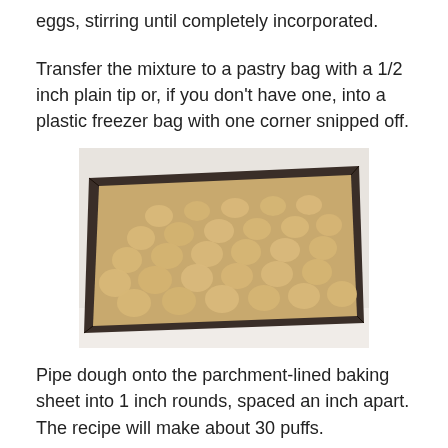eggs, stirring until completely incorporated.
Transfer the mixture to a pastry bag with a 1/2 inch plain tip or, if you don't have one, into a plastic freezer bag with one corner snipped off.
[Figure (photo): A parchment-lined dark metal baking sheet with approximately 30 round dough puffs arranged in rows, viewed from a slight angle.]
Pipe dough onto the parchment-lined baking sheet into 1 inch rounds, spaced an inch apart.  The recipe will make about 30 puffs.
Bake for 5 minutes at 425 and then turn the oven down to